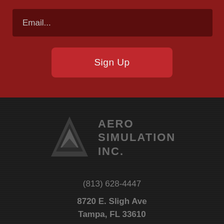Email...
Sign Up
[Figure (logo): Aero Simulation Inc. logo — triangular geometric arrow icon in grey with company name in bold uppercase grey text]
(813) 628-4447
8720 E. Sligh Ave
Tampa, FL 33610